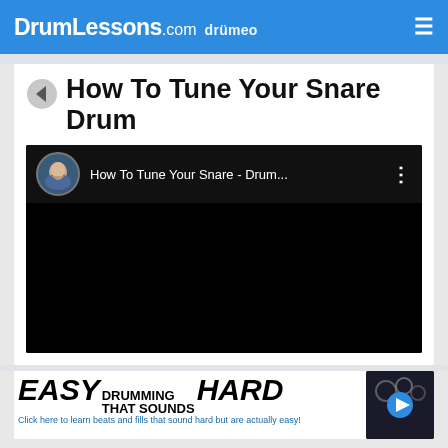DrumLessons.com drumeo
How To Tune Your Snare Drum
[Figure (screenshot): YouTube video embed showing 'How To Tune Your Snare - Drum...' with a circular avatar of a smiling person and three-dot menu icon, over a black video area]
[Figure (screenshot): Ad banner: 'EASY DRUMMING THAT SOUNDS HARD' with tagline 'Click here to learn beats and fills that sound hard but are actually easy!' and a small drum video thumbnail with blue play button]